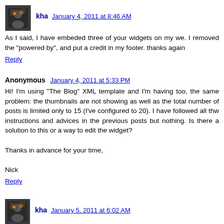kha  January 4, 2011 at 8:46 AM
As I said, I have embeded three of your widgets on my we. I removed the "powered by", and put a credit in my footer. thanks again
Reply
Anonymous  January 4, 2011 at 5:33 PM
Hi! I'm using "The Blog" XML template and I'm having too, the same problem: the thumbnails are not showing as well as the total number of posts is limited only to 15 (I've configured to 20). I have followed all thw instructions and advices in the previous posts but nothing. Is there a solution to this or a way to edit the widget?

Thanks in advance for your time,

Nick
Reply
kha  January 5, 2011 at 6:02 AM
Is there a way to display 10 random posts on the homepage